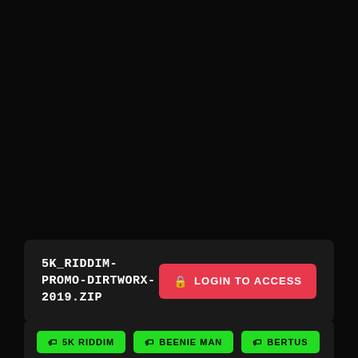5K_RIDDIM-PROMO-DIRTWORX-2019.ZIP
LOGIN TO ACCESS
5K RIDDIM
BEENIE MAN
BERTUS